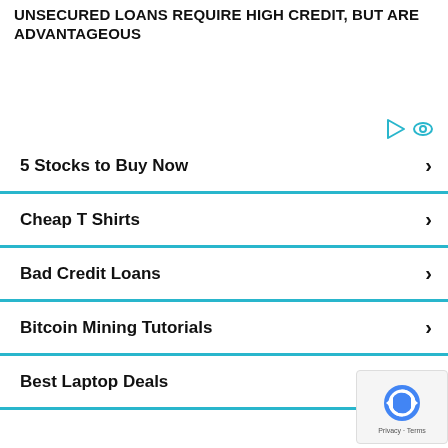UNSECURED LOANS REQUIRE HIGH CREDIT, BUT ARE ADVANTAGEOUS
5 Stocks to Buy Now
Cheap T Shirts
Bad Credit Loans
Bitcoin Mining Tutorials
Best Laptop Deals